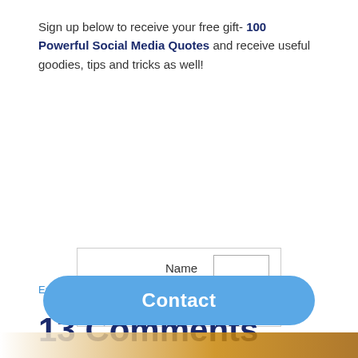Sign up below to receive your free gift- 100 Powerful Social Media Quotes and receive useful goodies, tips and tricks as well!
[Figure (other): Sign-up form with Name and Email fields and a Submit button]
Email Marketing by TrafficWave.net
13 Comments
[Figure (other): Blue Contact button overlay bar at page bottom]